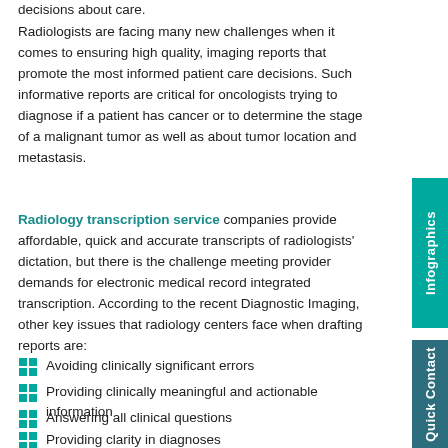decisions about care.
Radiologists are facing many new challenges when it comes to ensuring high quality, imaging reports that promote the most informed patient care decisions. Such informative reports are critical for oncologists trying to diagnose if a patient has cancer or to determine the stage of a malignant tumor as well as about tumor location and metastasis.
Radiology transcription service companies provide affordable, quick and accurate transcripts of radiologists' dictation, but there is the challenge meeting provider demands for electronic medical record integrated transcription. According to the recent Diagnostic Imaging, other key issues that radiology centers face when drafting reports are:
Avoiding clinically significant errors
Providing clinically meaningful and actionable information
Answering all clinical questions
Providing clarity in diagnoses